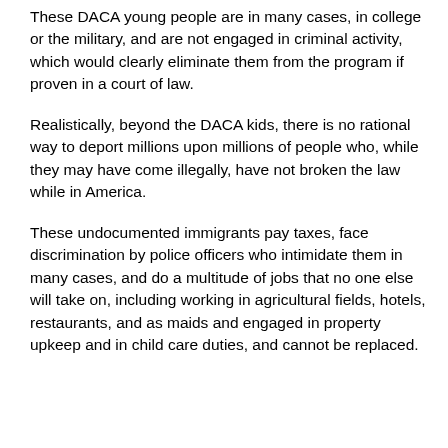These DACA young people are in many cases, in college or the military, and are not engaged in criminal activity, which would clearly eliminate them from the program if proven in a court of law.
Realistically, beyond the DACA kids, there is no rational way to deport millions upon millions of people who, while they may have come illegally, have not broken the law while in America.
These undocumented immigrants pay taxes, face discrimination by police officers who intimidate them in many cases, and do a multitude of jobs that no one else will take on, including working in agricultural fields, hotels, restaurants, and as maids and engaged in property upkeep and in child care duties, and cannot be replaced.